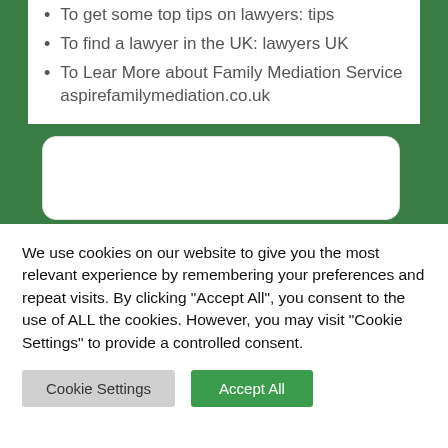To get some top tips on lawyers: tips
To find a lawyer in the UK: lawyers UK
To Lear More about Family Mediation Service aspirefamilymediation.co.uk
[Figure (other): Empty white rounded rectangle box, likely an image or embedded content placeholder]
We use cookies on our website to give you the most relevant experience by remembering your preferences and repeat visits. By clicking "Accept All", you consent to the use of ALL the cookies. However, you may visit "Cookie Settings" to provide a controlled consent.
Cookie Settings | Accept All